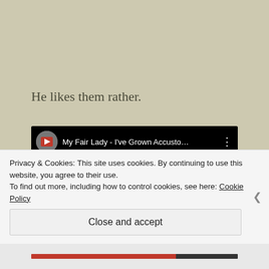He likes them rather.
[Figure (screenshot): YouTube video embed showing 'My Fair Lady - I've Grown Accusto...' with a play button overlay and video thumbnail of a man in a hat]
Privacy & Cookies: This site uses cookies. By continuing to use this website, you agree to their use.
To find out more, including how to control cookies, see here: Cookie Policy
Close and accept